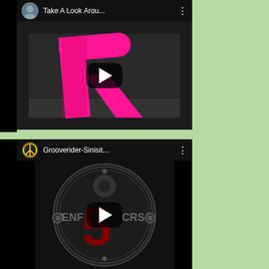[Figure (screenshot): YouTube video thumbnail card 1: 'Take A Look Arou...' with pink R logo on dark patterned background, play button visible, avatar thumbnail in top left]
[Figure (screenshot): YouTube video thumbnail card 2: 'Grooverider-Sinisit...' with circular Enforcers logo (dark metallic circle with red number 5 and ENFORCERS text), multicolor peace sign avatar, play button visible]